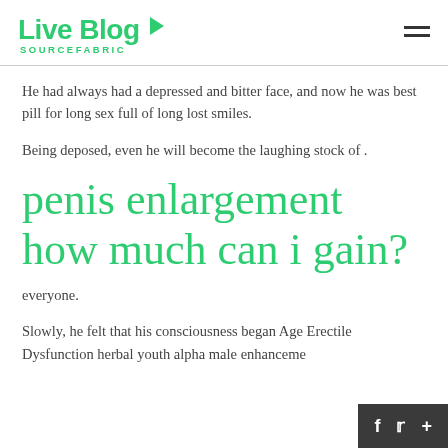[Figure (logo): Live Blog Sourcefabric logo with green arrow chevron and hamburger menu icon]
He had always had a depressed and bitter face, and now he was best pill for long sex full of long lost smiles.
Being deposed, even he will become the laughing stock of .
penis enlargement how much can i gain?
everyone.
Slowly, he felt that his consciousness began Age Erectile Dysfunction herbal youth alpha male enhancement little f...